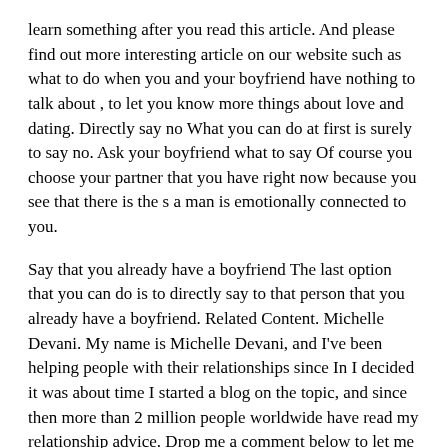learn something after you read this article. And please find out more interesting article on our website such as what to do when you and your boyfriend have nothing to talk about , to let you know more things about love and dating. Directly say no What you can do at first is surely to say no. Ask your boyfriend what to say Of course you choose your partner that you have right now because you see that there is the s a man is emotionally connected to you.
Say that you already have a boyfriend The last option that you can do is to directly say to that person that you already have a boyfriend. Related Content. Michelle Devani. My name is Michelle Devani, and I've been helping people with their relationships since In I decided it was about time I started a blog on the topic, and since then more than 2 million people worldwide have read my relationship advice. Drop me a comment below to let me know what you think.
You May Also Like. No Comments. I'm Michelle Devani and would like to take this opportunity to welcome you to my site. I hope you find what you're looking for.
What to do if someone asks you out
Ad dating years.
Tri... dating ...